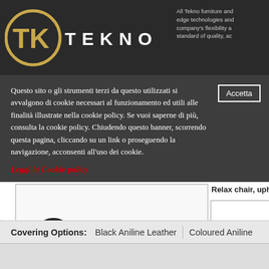TEKNO — All Tekno furniture and edge technologies and company's flexibility and standard of quality, ac...
Questo sito o gli strumenti terzi da questo utilizzati si avvalgono di cookie necessari al funzionamento ed utili alle finalità illustrate nella cookie policy. Se vuoi saperne di più, consulta la cookie policy. Chiudendo questo banner, scorrendo questa pagina, cliccando su un link o proseguendo la navigazione, acconsenti all'uso dei cookie.
Leggi la Cookie policy
[Figure (photo): LC4 chaise longue / relax chair with black upholstery on chrome frame, photographed at angle]
Relax chair, upholstered mattress a...
[Figure (illustration): Line drawing / schematic of LC4 chaise longue on white background]
Covering Options: Black Aniline Leather     Coloured Aniline